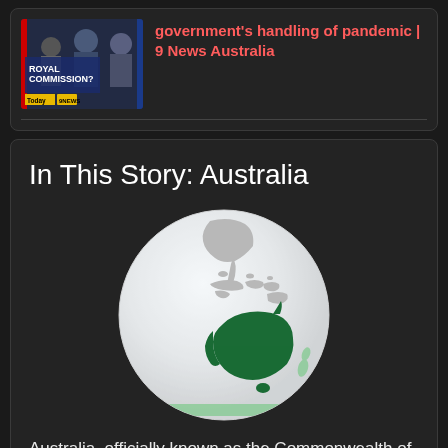[Figure (screenshot): Thumbnail showing news segment with text 'ROYAL COMMISSION?' and 'Today' label with Channel 9 logo, featuring politicians in background]
government's handling of pandemic | 9 News Australia
In This Story: Australia
[Figure (map): Globe showing Earth centered on the Asia-Pacific region, with Australia highlighted in dark green]
Australia, officially known as the Commonwealth of Australia, is a sovereign